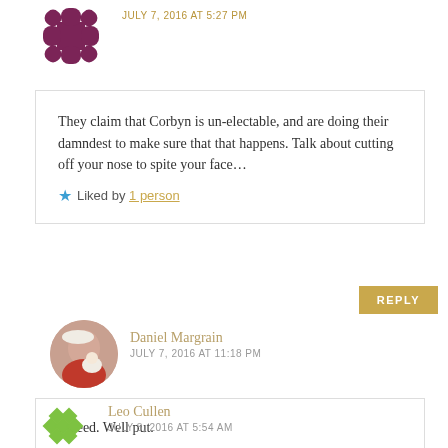[Figure (illustration): Purple decorative avatar icon at top of page]
JULY 7, 2016 AT 5:27 PM
They claim that Corbyn is un-electable, and are doing their damndest to make sure that that happens. Talk about cutting off your nose to spite your face...
★ Liked by 1 person
REPLY
[Figure (photo): Circular photo avatar of Daniel Margrain]
Daniel Margrain
JULY 7, 2016 AT 11:18 PM
Indeed. Well put.
★ Like
REPLY
[Figure (illustration): Green diamond pattern avatar for Leo Cullen]
Leo Cullen
JULY 8, 2016 AT 5:54 AM